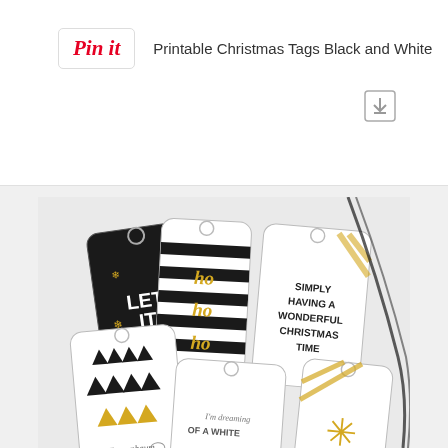[Figure (screenshot): Pinterest 'Pin it' button with label 'Printable Christmas Tags Black and White' and a download icon below]
[Figure (photo): Photo of printable Christmas gift tags in black, white, and gold. Tags include: 'LET IT SNOW' on black background with gold snowflakes, black and white striped tag with gold 'ho ho ho', 'SIMPLY HAVING A WONDERFUL CHRISTMAS TIME' on white tag, a tag with black trees and gold triangles labeled 'Tannenbaum', and tags with cursive text 'I'm dreaming of a White Christmas' with gold snowflake.]